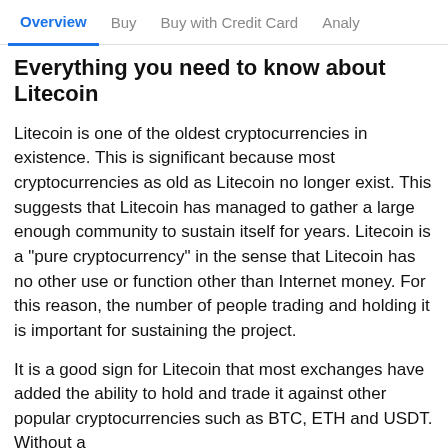Overview | Buy | Buy with Credit Card | Analy
Everything you need to know about Litecoin
Litecoin is one of the oldest cryptocurrencies in existence. This is significant because most cryptocurrencies as old as Litecoin no longer exist. This suggests that Litecoin has managed to gather a large enough community to sustain itself for years. Litecoin is a "pure cryptocurrency" in the sense that Litecoin has no other use or function other than Internet money. For this reason, the number of people trading and holding it is important for sustaining the project.
It is a good sign for Litecoin that most exchanges have added the ability to hold and trade it against other popular cryptocurrencies such as BTC, ETH and USDT. Without a
Looks like you're in the US. Go to our US site to compare relevant products for your country.
Go to Finder US
No, stay on this page